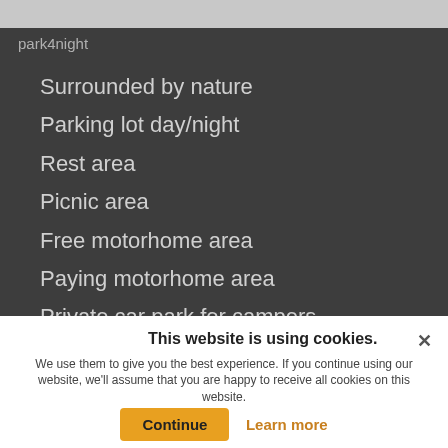park4night
Surrounded by nature
Parking lot day/night
Rest area
Picnic area
Free motorhome area
Paying motorhome area
Private car park for campers
Off road (4x4)
On the farm (farm, vineyard ...)
Camping
Service area
Dump waterways
Homestays accommodation
Extra services
This website is using cookies. We use them to give you the best experience. If you continue using our website, we'll assume that you are happy to receive all cookies on this website.
Continue   Learn more